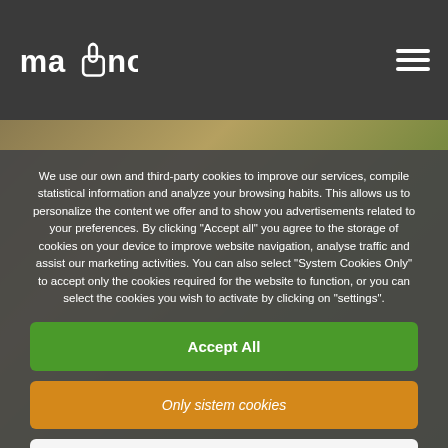mano (logo) navigation header with hamburger menu
We use our own and third-party cookies to improve our services, compile statistical information and analyze your browsing habits. This allows us to personalize the content we offer and to show you advertisements related to your preferences. By clicking "Accept all" you agree to the storage of cookies on your device to improve website navigation, analyse traffic and assist our marketing activities. You can also select "System Cookies Only" to accept only the cookies required for the website to function, or you can select the cookies you wish to activate by clicking on "settings".
Accept All
Only sistem cookies
Configuration